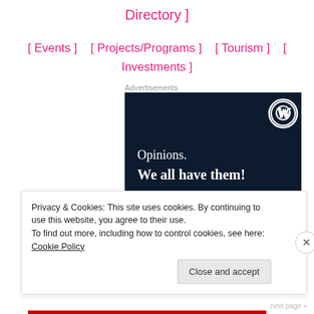Directory ]
[ Events ]    [ Projects/Programs ]    [ Tourism ]    [ Investments ]
Advertisements
[Figure (illustration): Dark navy advertisement banner with WordPress logo in top right corner. Text reads 'Opinions. We all have them!' in white serif font. Pink bar at bottom left.]
Privacy & Cookies: This site uses cookies. By continuing to use this website, you agree to their use.
To find out more, including how to control cookies, see here: Cookie Policy
Close and accept